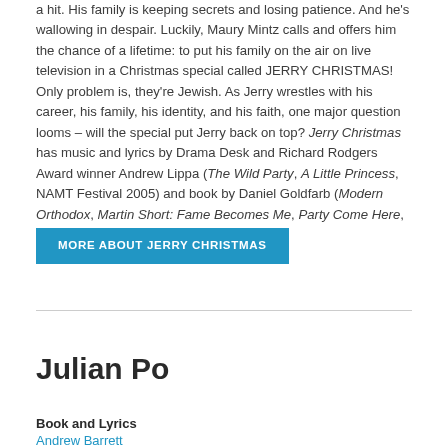a hit. His family is keeping secrets and losing patience. And he's wallowing in despair. Luckily, Maury Mintz calls and offers him the chance of a lifetime: to put his family on the air on live television in a Christmas special called JERRY CHRISTMAS! Only problem is, they're Jewish. As Jerry wrestles with his career, his family, his identity, and his faith, one major question looms – will the special put Jerry back on top? Jerry Christmas has music and lyrics by Drama Desk and Richard Rodgers Award winner Andrew Lippa (The Wild Party, A Little Princess, NAMT Festival 2005) and book by Daniel Goldfarb (Modern Orthodox, Martin Short: Fame Becomes Me, Party Come Here, NAMT Festival 2005).
MORE ABOUT JERRY CHRISTMAS
Julian Po
Book and Lyrics
Andrew Barrett